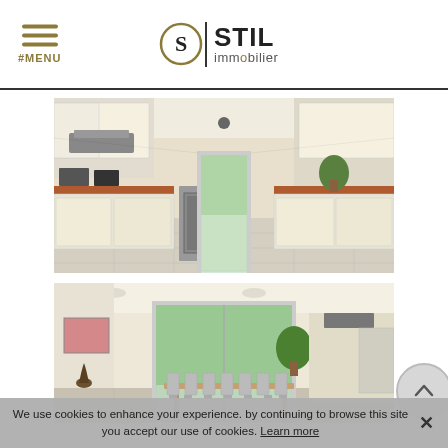#MENU | STIL immobilier
[Figure (photo): Interior kitchen photo showing a long galley kitchen with cream cabinets, orange/brown countertops, stainless appliances, and a door at the far end with garden view]
[Figure (photo): Interior living/dining room photo showing a bright open room with large sliding doors, a dining table with chairs, plants, and kitchen appliances visible]
We use cookies to enhance your experience. by continuing to browse this site you accept our use of cookies. Learn more